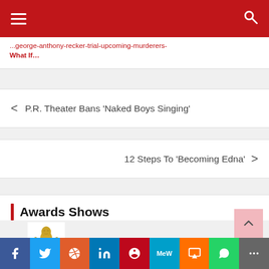Navigation bar with hamburger menu and search icon
...george-anthony-recker-trial-upcoming-murderers-what-if... What If...
< P.R. Theater Bans 'Naked Boys Singing'
12 Steps To 'Becoming Edna' >
Awards Shows
[Figure (photo): Gold Oscar statuette figure]
Social share buttons: Facebook, Twitter, Reddit, LinkedIn, Pinterest, MeWe, Mix, WhatsApp, More